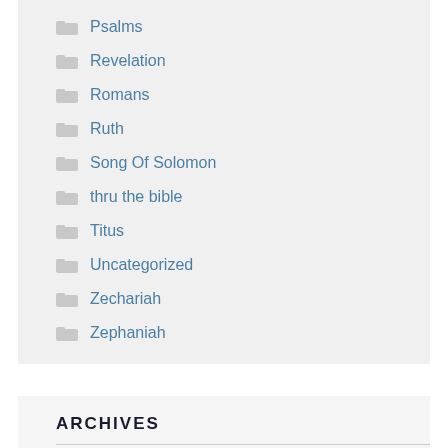Psalms
Revelation
Romans
Ruth
Song Of Solomon
thru the bible
Titus
Uncategorized
Zechariah
Zephaniah
ARCHIVES
August 2022